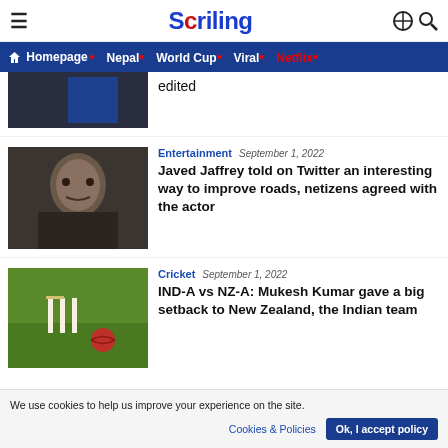Scriling
Homepage • Nepal • World Cup • Viral • Netflix •
edited
Entertainment  September 1, 2022
Javed Jaffrey told on Twitter an interesting way to improve roads, netizens agreed with the actor
Cricket  September 1, 2022
IND-A vs NZ-A: Mukesh Kumar gave a big setback to New Zealand, the Indian team
We use cookies to help us improve your experience on the site.
Cookies & Policies   Ok, I accept policy